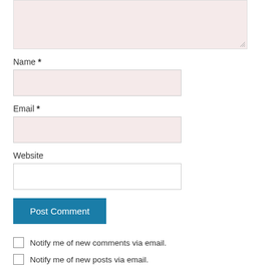[Figure (screenshot): Partial textarea input box with pink/light rose background and resize handle in bottom right corner]
Name *
[Figure (screenshot): Name input field with pink/light rose background]
Email *
[Figure (screenshot): Email input field with pink/light rose background]
Website
[Figure (screenshot): Website input field with white background]
[Figure (screenshot): Post Comment button in teal/dark blue color]
Notify me of new comments via email.
Notify me of new posts via email.
This site uses Akismet to reduce spam. Learn how your comment data is processed.